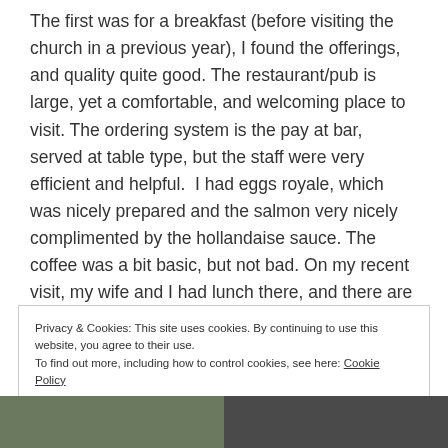The first was for a breakfast (before visiting the church in a previous year), I found the offerings, and quality quite good. The restaurant/pub is large, yet a comfortable, and welcoming place to visit. The ordering system is the pay at bar, served at table type, but the staff were very efficient and helpful.  I had eggs royale, which was nicely prepared and the salmon very nicely complimented by the hollandaise sauce. The coffee was a bit basic, but not bad. On my recent visit, my wife and I had lunch there, and there are some very good Friday Fish deals.
Privacy & Cookies: This site uses cookies. By continuing to use this website, you agree to their use. To find out more, including how to control cookies, see here: Cookie Policy
[Figure (photo): Two photos at the bottom of the page, partially visible — left appears to be a fabric or floral texture, right appears to be a dark indoor scene.]